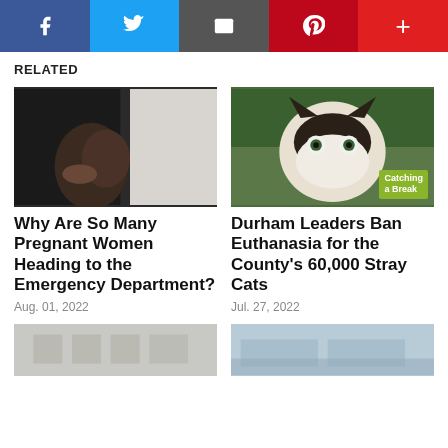Social share bar: Facebook, Twitter, Email, Pinterest, More
RELATED
[Figure (photo): Pregnant woman holding her belly, close-up view]
Why Are So Many Pregnant Women Heading to the Emergency Department?
Aug. 01, 2022
[Figure (photo): Fluffy cat looking up with wide eyes, 'Catching a Break' badge overlay]
Durham Leaders Ban Euthanasia for the County's 60,000 Stray Cats
Jul. 27, 2022
[Figure (photo): Partial image of a building, faded/light]
[Figure (photo): Partial image of a building exterior, blue tones]